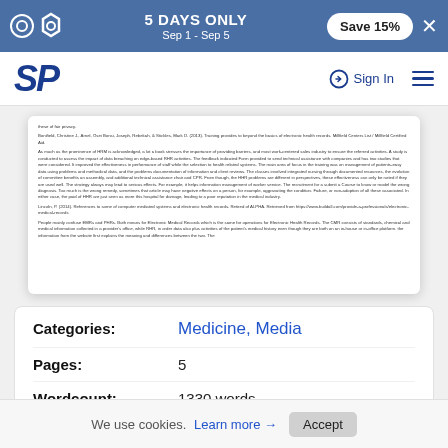5 DAYS ONLY Sep 1 - Sep 5  Save 15%
[Figure (logo): SP logo in dark blue italic text]
Sign In
[Figure (screenshot): Partial document preview showing text about health records and privacy]
|  |  |
| --- | --- |
| Categories: | Medicine, Media |
| Pages: | 5 |
| Wordcount: | 1330 words |
We use cookies. Learn more → Accept